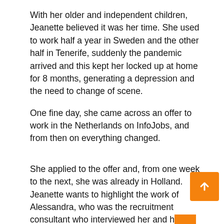With her older and independent children, Jeanette believed it was her time. She used to work half a year in Sweden and the other half in Tenerife, suddenly the pandemic arrived and this kept her locked up at home for 8 months, generating a depression and the need to change of scene.
One fine day, she came across an offer to work in the Netherlands on InfoJobs, and from then on everything changed.
She applied to the offer and, from one week to the next, she was already in Holland. Jeanette wants to highlight the work of Alessandra, who was the recruitment consultant who interviewed her and helped her in this experience.
Now, months later, she couldn't be happier with the